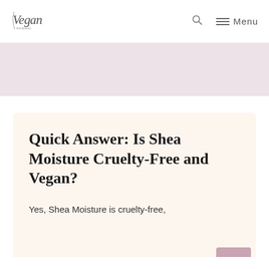Vegan [logo] | Search | Menu
[Figure (illustration): Light pink/lavender horizontal banner below the header navigation]
Quick Answer: Is Shea Moisture Cruelty-Free and Vegan?
Yes, Shea Moisture is cruelty-free,